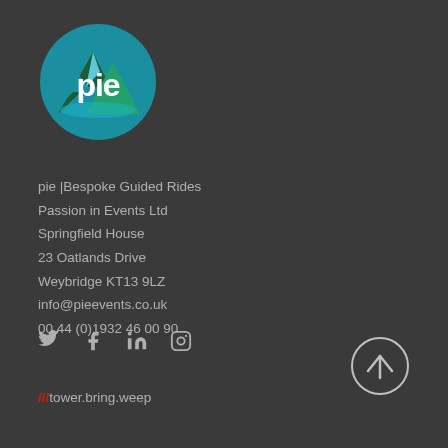[Figure (logo): PIE logo: circular badge with mountain/peaks in teal and green, white text 'pie' in lowercase]
pie |Bespoke Guided Rides
Passion in Events Ltd
Springfield House
23 Oatlands Drive
Weybridge KT13 9LZ
info@pieevents.co.uk
00 44 (0)1932 46 00 90
[Figure (infographic): Social media icons: Twitter (bird), Facebook (f), LinkedIn (in), Instagram (camera circle)]
///tower.bring.weep
[Figure (illustration): Circular scroll-to-top button with upward arrow, white outline on dark background]